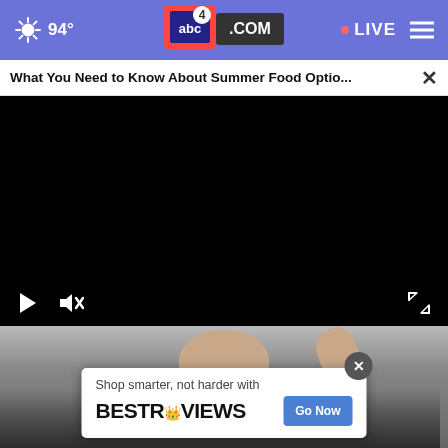94° abc4.com LIVE
What You Need to Know About Summer Food Optio...
[Figure (screenshot): Black video player area with play and mute controls, and fullscreen expand icon]
[Figure (photo): A person raising their hand, partially visible at the bottom of the page]
Shop smarter, not harder with BEST REVIEWS Go Now